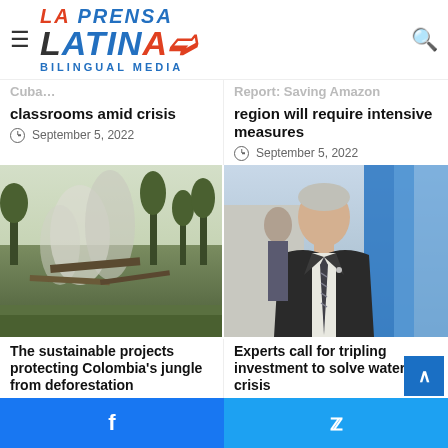[Figure (logo): La Prensa Latina Bilingual Media logo with hamburger menu and search icon]
classrooms amid crisis
September 5, 2022
Report: Saving Amazon region will require intensive measures
September 5, 2022
[Figure (photo): Forest fire / deforestation scene in Colombia jungle with smoke and cut trees]
[Figure (photo): Middle-aged man in suit with striped tie in front of blue banners]
The sustainable projects protecting Colombia's jungle from deforestation
September 5, 2022
Experts call for tripling investment to solve water crisis
September 5, 2022
[Figure (logo): Facebook and Twitter social share footer bar]